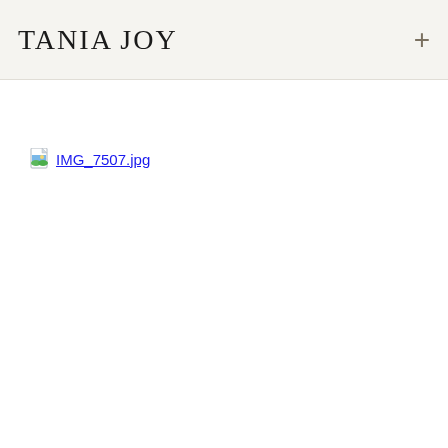TANIA JOY
[Figure (other): File icon representing an image file (IMG_7507.jpg) with a small landscape thumbnail icon showing blue sky and green hills, followed by the filename text link IMG_7507.jpg]